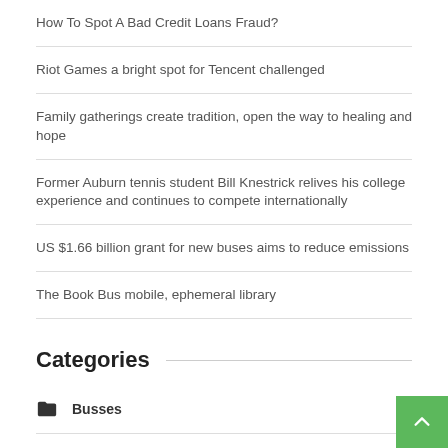How To Spot A Bad Credit Loans Fraud?
Riot Games a bright spot for Tencent challenged
Family gatherings create tradition, open the way to healing and hope
Former Auburn tennis student Bill Knestrick relives his college experience and continues to compete internationally
US $1.66 billion grant for new buses aims to reduce emissions
The Book Bus mobile, ephemeral library
Categories
Busses
Coach Industry